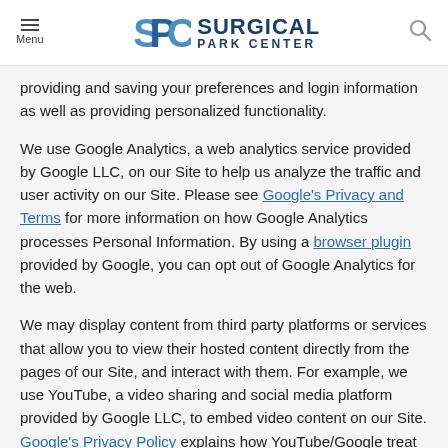Menu | SURGICAL PARK CENTER
providing and saving your preferences and login information as well as providing personalized functionality.
We use Google Analytics, a web analytics service provided by Google LLC, on our Site to help us analyze the traffic and user activity on our Site. Please see Google's Privacy and Terms for more information on how Google Analytics processes Personal Information. By using a browser plugin provided by Google, you can opt out of Google Analytics for the web.
We may display content from third party platforms or services that allow you to view their hosted content directly from the pages of our Site, and interact with them. For example, we use YouTube, a video sharing and social media platform provided by Google LLC, to embed video content on our Site. Google's Privacy Policy explains how YouTube/Google treat your personal data and protect your privacy when you provide your personal data in connection with